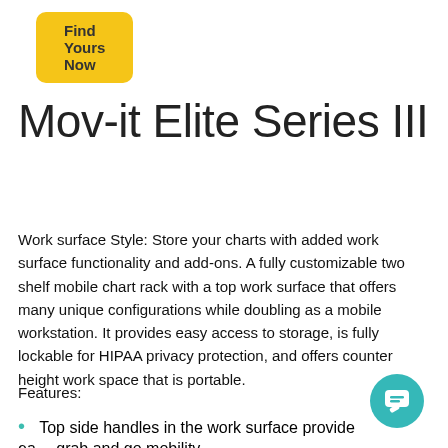[Figure (other): Yellow rounded button with text 'Find Yours Now']
Mov-it Elite Series III
Work surface Style: Store your charts with added work surface functionality and add-ons. A fully customizable two shelf mobile chart rack with a top work surface that offers many unique configurations while doubling as a mobile workstation. It provides easy access to storage, is fully lockable for HIPAA privacy protection, and offers counter height work space that is portable.
Features:
Top side handles in the work surface provide easy grab and go mobility
[Figure (other): Teal circular chat button in bottom-right corner]